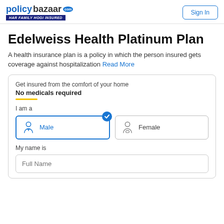policybazaar.com HAR FAMILY HOGI INSURED | Sign In
Edelweiss Health Platinum Plan
A health insurance plan is a policy in which the person insured gets coverage against hospitalization Read More
Get insured from the comfort of your home
No medicals required
I am a
Male | Female
My name is
Full Name